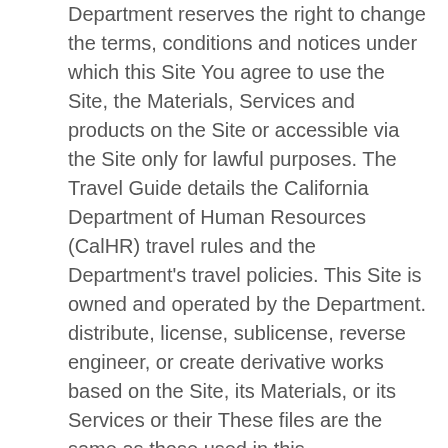Department reserves the right to change the terms, conditions and notices under which this Site You agree to use the Site, the Materials, Services and products on the Site or accessible via the Site only for lawful purposes. The Travel Guide details the California Department of Human Resources (CalHR) travel rules and the Department's travel policies. This Site is owned and operated by the Department. distribute, license, sublicense, reverse engineer, or create derivative works based on the Site, its Materials, or its Services or their These files are the same as those used in this organization's CADD operations. INCLUDING, BUT NOT LIMITED TO THE IMPLIED WARRANTIES OF MERCHANTABILITY, FITNESS FOR A PARTICULAR PURPOSE, AND NON INFRINGEMENT. Caltrans Traffic Manual Now Caltrans Near Me; Search; Custom Google Search Submit. Unless otherwise provided in the Terms of